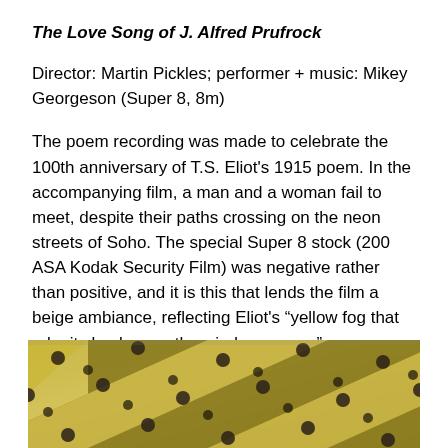The Love Song of J. Alfred Prufrock
Director: Martin Pickles; performer + music: Mikey Georgeson (Super 8, 8m)
The poem recording was made to celebrate the 100th anniversary of T.S. Eliot's 1915 poem. In the accompanying film, a man and a woman fail to meet, despite their paths crossing on the neon streets of Soho. The special Super 8 stock (200 ASA Kodak Security Film) was negative rather than positive, and it is this that lends the film a beige ambiance, reflecting Eliot's “yellow fog that rubs its back upon the window-panes.”
[Figure (photo): Close-up photograph showing diagonal striped pattern in beige/yellow tones with dark circular dots, resembling a film strip or textured surface under Super 8 film aesthetic]